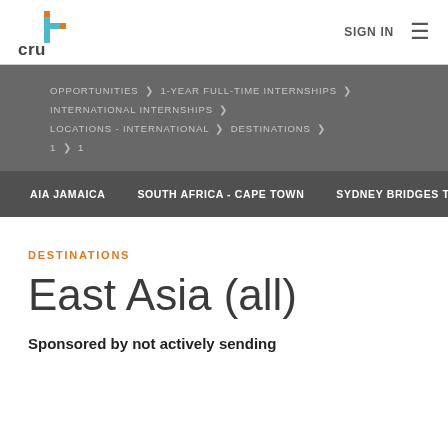cru+ | SIGN IN ≡
OPPORTUNITIES > 1-YEAR FULL-TIME INTERNSHIPS > INTERNATIONAL INTERNSHIPS > LOCATIONS - INTERNATIONAL > DESTINATIONS > 1 > 1
AIA JAMAICA   SOUTH AFRICA - CAPE TOWN   SYDNEY BRIDGES T
DESTINATIONS
East Asia (all)
Sponsored by not actively sending